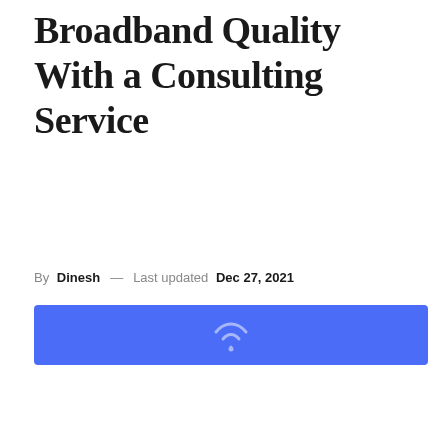Broadband Quality With a Consulting Service
By Dinesh — Last updated Dec 27, 2021
[Figure (illustration): Blue banner with a partial wifi/connectivity icon in white]